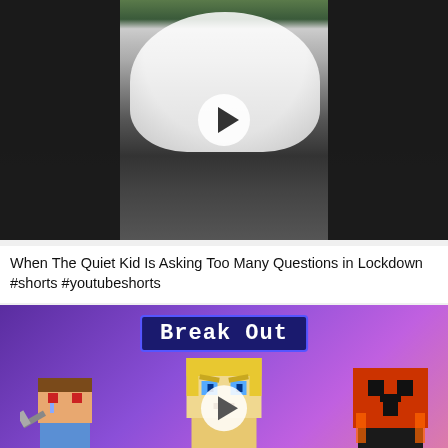[Figure (screenshot): Video thumbnail showing a person with a white head covering, dark background on sides, with a play button overlay. YouTube-style video card.]
When The Quiet Kid Is Asking Too Many Questions in Lockdown #shorts #youtubeshorts
[Figure (screenshot): Minecraft-style animated video thumbnail with 'Break Out' title banner and three Minecraft characters on a purple/pink gradient background with a play button overlay.]